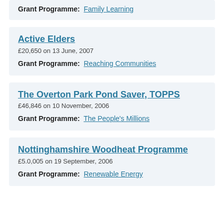Grant Programme: Family Learning
Active Elders
£20,650 on 13 June, 2007
Grant Programme: Reaching Communities
The Overton Park Pond Saver, TOPPS
£46,846 on 10 November, 2006
Grant Programme: The People's Millions
Nottinghamshire Woodheat Programme
£5.0,005 on 19 September, 2006
Grant Programme: Renewable Energy